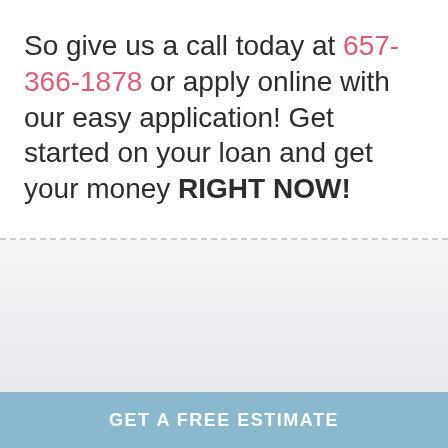So give us a call today at 657-366-1878 or apply online with our easy application! Get started on your loan and get your money RIGHT NOW!
GET A FREE ESTIMATE